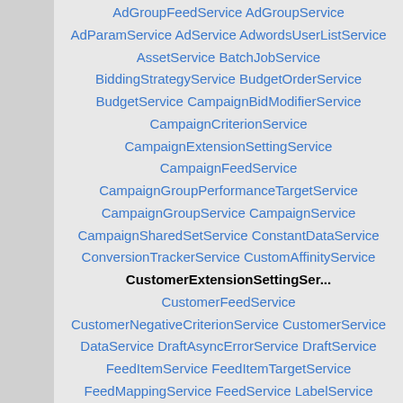AdGroupFeedService AdGroupService AdParamService AdService AdwordsUserListService AssetService BatchJobService BiddingStrategyService BudgetOrderService BudgetService CampaignBidModifierService CampaignCriterionService CampaignExtensionSettingService CampaignFeedService CampaignGroupPerformanceTargetService CampaignGroupService CampaignService CampaignSharedSetService ConstantDataService ConversionTrackerService CustomAffinityService CustomerExtensionSettingSer... CustomerFeedService CustomerNegativeCriterionService CustomerService DataService DraftAsyncErrorService DraftService FeedItemService FeedItemTargetService FeedMappingService FeedService LabelService LocationCriterionService ManagedCustomerService